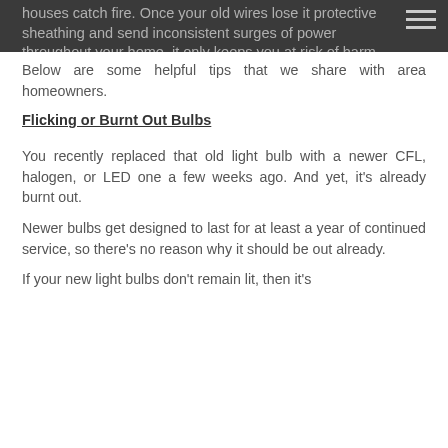houses catch fire. Once your old wires lose it protective sheathing and send inconsistent surges of power throughout your home, it only keeps you at risk of harm.
Below are some helpful tips that we share with area homeowners.
Flicking or Burnt Out Bulbs
You recently replaced that old light bulb with a newer CFL, halogen, or LED one a few weeks ago. And yet, it’s already burnt out.
Newer bulbs get designed to last for at least a year of continued service, so there’s no reason why it should be out already.
If your new light bulbs don’t remain lit, then it’s